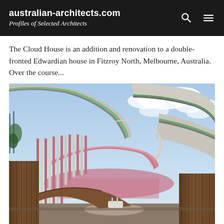australian-architects.com — Profiles of Selected Architects
The Cloud House is an addition and renovation to a double-fronted Edwardian house in Fitzroy North, Melbourne, Australia. Over the course...
[Figure (photo): Exterior photograph of the Cloud House showing a dramatic curved white brick facade with green and grey horizontal bands, pink soffit, colorful vertical fins/louvres, and a blue sky with clouds in the background. The lower portion shows warm timber vertical cladding.]